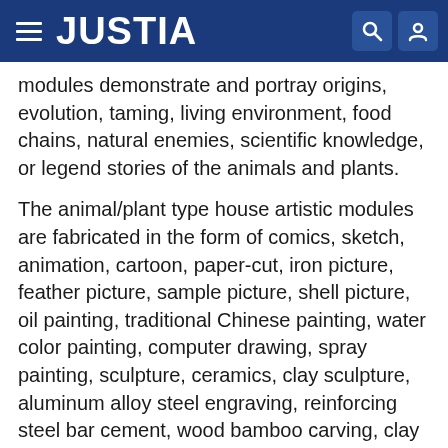JUSTIA
modules demonstrate and portray origins, evolution, taming, living environment, food chains, natural enemies, scientific knowledge, or legend stories of the animals and plants.
The animal/plant type house artistic modules are fabricated in the form of comics, sketch, animation, cartoon, paper-cut, iron picture, feather picture, sample picture, shell picture, oil painting, traditional Chinese painting, water color painting, computer drawing, spray painting, sculpture, ceramics, clay sculpture, aluminum alloy steel engraving, reinforcing steel bar cement, wood bamboo carving, clay rock, plastic sculpture, copper sculpture, glass artwork, bio-nano hybrid material imitation, picture-story book, woodcut, fairy tale picture, story picture, film/TV program picture, or photograph.